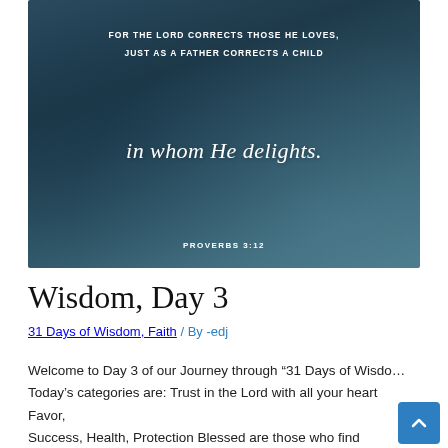[Figure (photo): Dark teal/blue-tinted inspirational image showing a Bible verse from Proverbs 3:12. Text reads: 'FOR THE LORD CORRECTS THOSE HE LOVES, JUST AS A FATHER CORRECTS A CHILD in whom He delights. PROVERBS 3:12']
Wisdom, Day 3
31 Days of Wisdom, Faith / By -edj
Welcome to Day 3 of our Journey through “31 Days of Wisdom”. Today’s categories are: Trust in the Lord with all your heart Favor, Success, Health, Protection Blessed are those who find wisdom